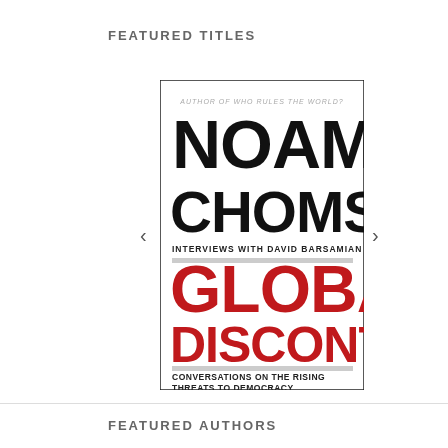FEATURED TITLES
[Figure (illustration): Book cover for 'Global Discontents: Conversations on the Rising Threats to Democracy' by Noam Chomsky, with interviews by David Barsamian. Part of The American Empire Project series. Cover shows 'NOAM CHOMSKY' in large black bold text, 'GLOBAL DISCONTENTS' in large red bold text, subtitle in black bold text, with horizontal gray bars separating sections.]
FEATURED AUTHORS